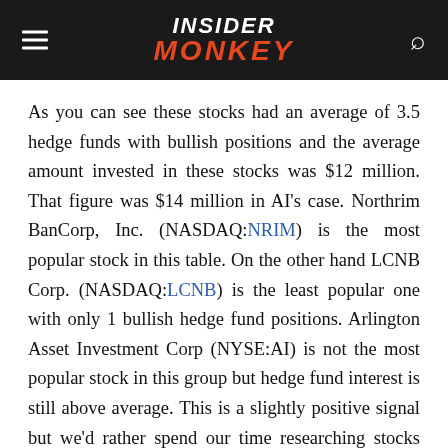INSIDER MONKEY
As you can see these stocks had an average of 3.5 hedge funds with bullish positions and the average amount invested in these stocks was $12 million. That figure was $14 million in AI's case. Northrim BanCorp, Inc. (NASDAQ:NRIM) is the most popular stock in this table. On the other hand LCNB Corp. (NASDAQ:LCNB) is the least popular one with only 1 bullish hedge fund positions. Arlington Asset Investment Corp (NYSE:AI) is not the most popular stock in this group but hedge fund interest is still above average. This is a slightly positive signal but we'd rather spend our time researching stocks that hedge funds are piling on. Our calculations showed